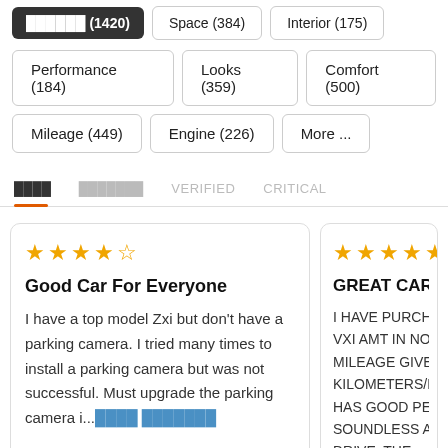██████ (1420)
Space (384)
Interior (175)
Performance (184)
Looks (359)
Comfort (500)
Mileage (449)
Engine (226)
More ...
████  ███████  VERIFIED  CRITICAL
Good Car For Everyone
I have a top model Zxi but don't have a parking camera. I tried many times to install a parking camera but was not successful. Must upgrade the parking camera i...████ ███████
GREAT CAR
I HAVE PURCHA... VXI AMT IN NOV... MILEAGE GIVES... KILOMETERS/LI... HAS GOOD PER... SOUNDLESS AN... DRIVE, THE&nbs...